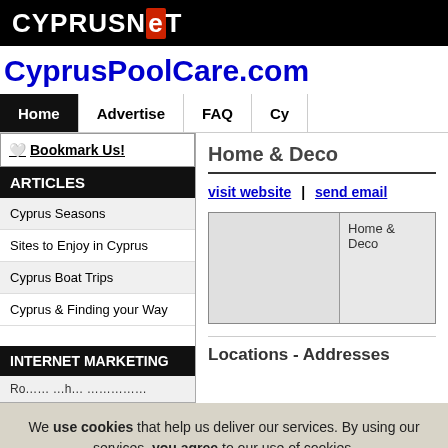CYPRUSNET
CyprusPoolCare.com
Home | Advertise | FAQ | Cy
🤍 Bookmark Us!
ARTICLES
Cyprus Seasons
Sites to Enjoy in Cyprus
Cyprus Boat Trips
Cyprus & Finding your Way
INTERNET MARKETING
Home & Deco
visit website | send email
[Figure (photo): Home & Deco image placeholder with label text 'Home & Deco']
Locations - Addresses
We use cookies that help us deliver our services. By using our services, you agree to our use of cookies.